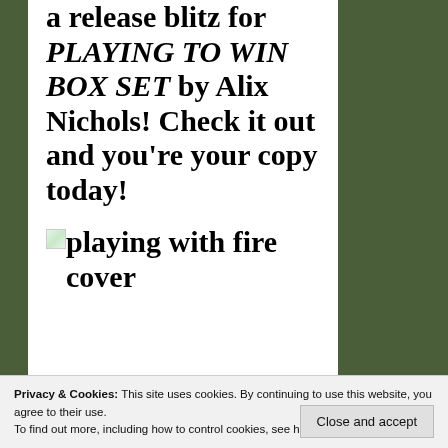a release blitz for PLAYING TO WIN BOX SET by Alix Nichols! Check it out and you're your copy today!
[Figure (photo): Broken image placeholder for 'playing with fire cover']
playing with fire cover
Privacy & Cookies: This site uses cookies. By continuing to use this website, you agree to their use.
To find out more, including how to control cookies, see here: Cookie Policy